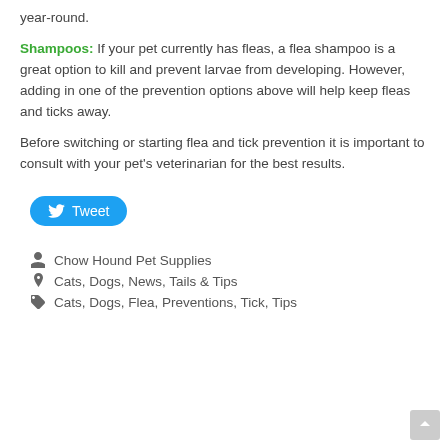year-round.
Shampoos: If your pet currently has fleas, a flea shampoo is a great option to kill and prevent larvae from developing. However, adding in one of the prevention options above will help keep fleas and ticks away.
Before switching or starting flea and tick prevention it is important to consult with your pet's veterinarian for the best results.
[Figure (other): Tweet button with Twitter bird icon]
Chow Hound Pet Supplies
Cats, Dogs, News, Tails & Tips
Cats, Dogs, Flea, Preventions, Tick, Tips